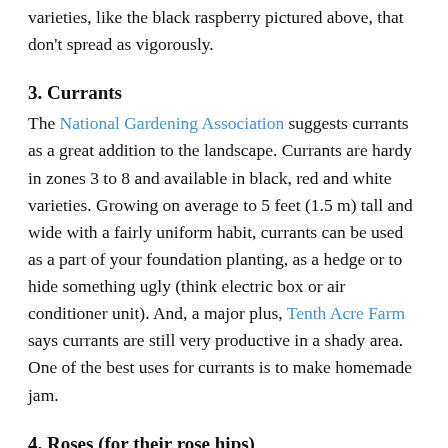varieties, like the black raspberry pictured above, that don't spread as vigorously.
3. Currants
The National Gardening Association suggests currants as a great addition to the landscape. Currants are hardy in zones 3 to 8 and available in black, red and white varieties. Growing on average to 5 feet (1.5 m) tall and wide with a fairly uniform habit, currants can be used as a part of your foundation planting, as a hedge or to hide something ugly (think electric box or air conditioner unit). And, a major plus, Tenth Acre Farm says currants are still very productive in a shady area. One of the best uses for currants is to make homemade jam.
4. Roses (for their rose hips)
Rose hips, which are the fruit of roses, are often used for jam, tea and beauty products such as lotions and creams